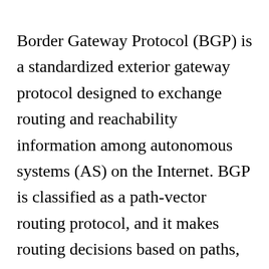Border Gateway Protocol (BGP) is a standardized exterior gateway protocol designed to exchange routing and reachability information among autonomous systems (AS) on the Internet. BGP is classified as a path-vector routing protocol, and it makes routing decisions based on paths, network policies, or rule-sets configured by a network administrator.
BGP may be used for routing within an autonomous system. In this application it is